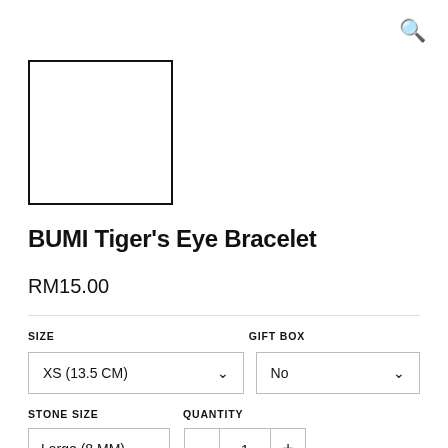[Figure (other): Product image placeholder — empty white box with black border]
BUMI Tiger's Eye Bracelet
RM15.00
SIZE
GIFT BOX
XS (13.5 CM)
No
STONE SIZE
QUANTITY
Large (8 MM)
1